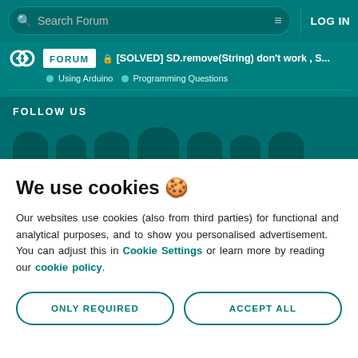Search Forum | LOG IN
[SOLVED] SD.remove(String) don't work , S... | Using Arduino | Programming Questions
FOLLOW US
We use cookies 🍪
Our websites use cookies (also from third parties) for functional and analytical purposes, and to show you personalised advertisement. You can adjust this in Cookie Settings or learn more by reading our cookie policy.
ONLY REQUIRED
ACCEPT ALL